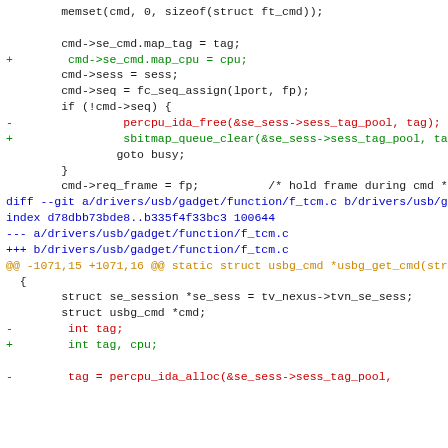[Figure (screenshot): A unified diff patch showing changes to USB gadget driver source files. Code is shown in monospace font with color-coded diff lines: black for context, red for removed lines, green for added lines, blue for diff headers, and orange/brown for hunk headers.]